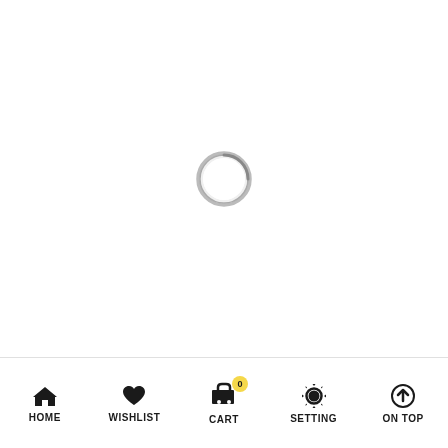[Figure (other): Loading spinner — a circular ring shape (like a browser loading indicator) centered on a white background. The ring is light gray/white with a darker gray gradient stroke, approximately 60px diameter.]
HOME  WISHLIST  CART  SETTING  ON TOP